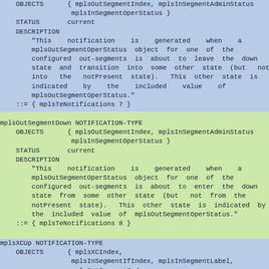OBJECTS { mplsOutSegmentIndex, mplsInSegmentAdminStatus,
                mplsInSegmentOperStatus }
    STATUS      current
    DESCRIPTION
        "This notification is generated when a
        mplsOutSegmentOperStatus object for one of the
        configured out-segments is about to leave the down
        state and transition into some other state (but not
        into the notPresent state). This other state is
        indicated by the included value of
        mplsOutSegmentOperStatus."
    ::= { mplsTeNotifications 7 }
mplsOutSegmentDown NOTIFICATION-TYPE
    OBJECTS { mplsOutSegmentIndex, mplsInSegmentAdminStatus,
                mplsInSegmentOperStatus }
    STATUS      current
    DESCRIPTION
        "This notification is generated when a
        mplsOutSegmentOperStatus object for one of the
        configured out-segments is about to enter the down
        state from some other state (but not from the
        notPresent state). This other state is indicated by
        the included value of mplsOutSegmentOperStatus."
    ::= { mplsTeNotifications 8 }
mplsXCUp NOTIFICATION-TYPE
    OBJECTS { mplsXCIndex,
                mplsInSegmentIfIndex, mplsInSegmentLabel,
                mplsOutSegmentIndex,
                mplsXCAdminStatus, mplsXCOperStatus }